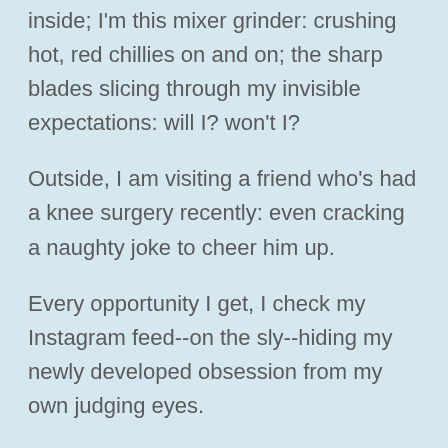inside; I'm this mixer grinder: crushing hot, red chillies on and on; the sharp blades slicing through my invisible expectations: will I? won't I?
Outside, I am visiting a friend who's had a knee surgery recently: even cracking a naughty joke to cheer him up.
Every opportunity I get, I check my Instagram feed--on the sly--hiding my newly developed obsession from my own judging eyes.
I search for the organiser's insta--refresh their